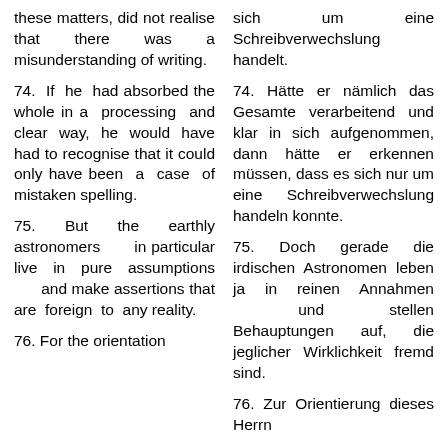these matters, did not realise that there was a misunderstanding of writing.
sich um eine Schreibverwechslung handelt.
74. If he had absorbed the whole in a processing and clear way, he would have had to recognise that it could only have been a case of mistaken spelling.
74. Hätte er nämlich das Gesamte verarbeitend und klar in sich aufgenommen, dann hätte er erkennen müssen, dass es sich nur um eine Schreibverwechslung handeln konnte.
75. But the earthly astronomers in particular live in pure assumptions and make assertions that are foreign to any reality.
75. Doch gerade die irdischen Astronomen leben ja in reinen Annahmen und stellen Behauptungen auf, die jeglicher Wirklichkeit fremd sind.
76. For the orientation
76. Zur Orientierung dieses Herrn